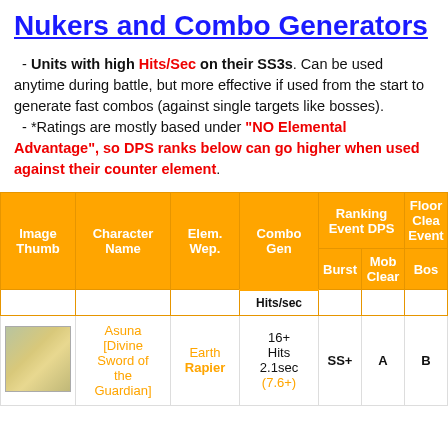Nukers and Combo Generators
- Units with high Hits/Sec on their SS3s. Can be used anytime during battle, but more effective if used from the start to generate fast combos (against single targets like bosses).
- *Ratings are mostly based under "NO Elemental Advantage", so DPS ranks below can go higher when used against their counter element.
| Image Thumb | Character Name | Elem. Wep. | Combo Gen Hits/sec | Ranking Event DPS Burst | Ranking Event DPS Mob Clear | Floor Clear Event Bos |
| --- | --- | --- | --- | --- | --- | --- |
| [image] | Asuna [Divine Sword of the Guardian] | Earth Rapier | 16+ Hits 2.1sec (7.6+) | SS+ | A | B |  |